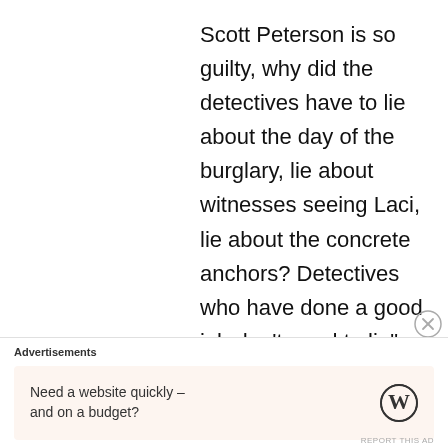Scott Peterson is so guilty, why did the detectives have to lie about the day of the burglary, lie about witnesses seeing Laci, lie about the concrete anchors? Detectives who have done a good job don’t need to lie” Maybe people will not even entertain any possibility of
Advertisements
Need a website quickly – and on a budget?